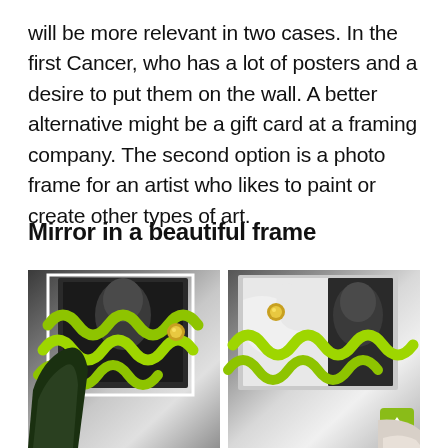will be more relevant in two cases. In the first Cancer, who has a lot of posters and a desire to put them on the wall. A better alternative might be a gift card at a framing company. The second option is a photo frame for an artist who likes to paint or create other types of art.
Mirror in a beautiful frame
[Figure (photo): Two side-by-side photos showing decorative lime-green squiggly/wavy sculptural objects arranged with black-and-white photographs and marble surfaces, with a gold/brass circular element visible. A dark leaf plant is partially visible in the bottom-left corner. A scroll-to-top button appears in the bottom-right.]